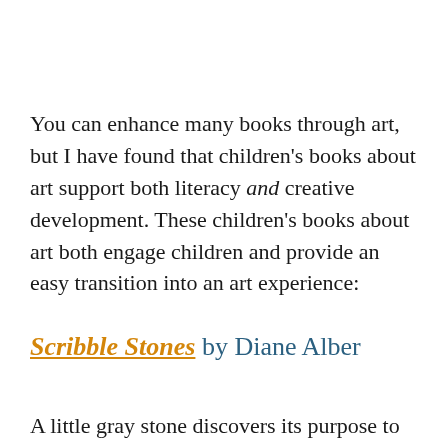You can enhance many books through art, but I have found that children's books about art support both literacy and creative development. These children's books about art both engage children and provide an easy transition into an art experience:
Scribble Stones by Diane Alber
A little gray stone discovers its purpose to bring joy